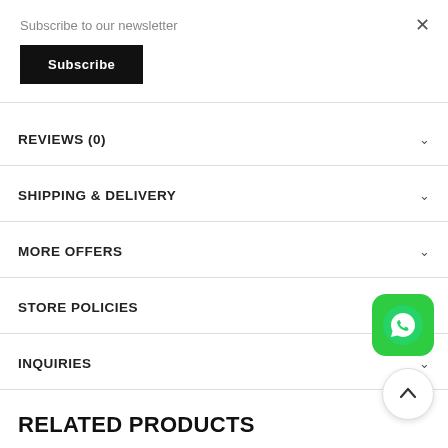Subscribe to our newsletter
Subscribe
REVIEWS (0)
SHIPPING & DELIVERY
MORE OFFERS
STORE POLICIES
INQUIRIES
[Figure (logo): WhatsApp icon button — green rounded square with white phone/chat bubble logo]
[Figure (other): Scroll-to-top button — circular white button with upward caret arrow]
RELATED PRODUCTS